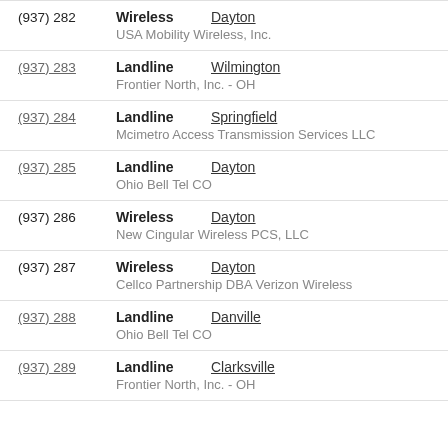| Phone | Type | City | Carrier |
| --- | --- | --- | --- |
| (937) 282 | Wireless | Dayton | USA Mobility Wireless, Inc. |
| (937) 283 | Landline | Wilmington | Frontier North, Inc. - OH |
| (937) 284 | Landline | Springfield | Mcimetro Access Transmission Services LLC |
| (937) 285 | Landline | Dayton | Ohio Bell Tel CO |
| (937) 286 | Wireless | Dayton | New Cingular Wireless PCS, LLC |
| (937) 287 | Wireless | Dayton | Cellco Partnership DBA Verizon Wireless |
| (937) 288 | Landline | Danville | Ohio Bell Tel CO |
| (937) 289 | Landline | Clarksville | Frontier North, Inc. - OH |